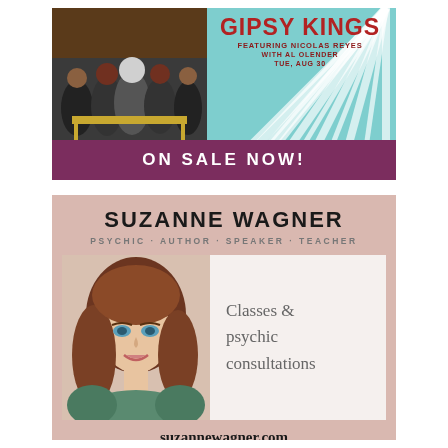[Figure (infographic): Gipsy Kings concert advertisement with band photo on left and text on right. Teal/turquoise sunburst background. Shows 'GIPSY KINGS featuring NICOLAS REYES WITH AL OLENDER TUE, AUG 30'. Purple bar at bottom reads 'ON SALE NOW!']
[Figure (infographic): Suzanne Wagner advertisement with pink/rose background. Shows name, tagline 'PSYCHIC · AUTHOR · SPEAKER · TEACHER', photo of woman with auburn hair, white box with text 'Classes & psychic consultations', and website suzannewagner.com]